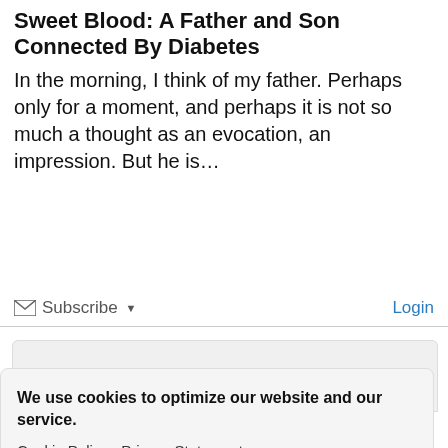Sweet Blood: A Father and Son Connected By Diabetes
In the morning, I think of my father. Perhaps only for a moment, and perhaps it is not so much a thought as an evocation, an impression. But he is…
✉ Subscribe ▾   Login
We use cookies to optimize our website and our service.
Cookie Policy - Privacy Statement
Accept